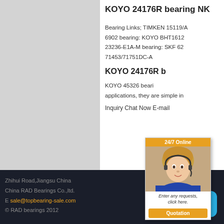[Figure (photo): Gray panel on the left side of the page, acting as an image placeholder]
KOYO 24176R bearing NK
Bearing Links; TIMKEN 15119/A 6902 bearing: KOYO BHT1612 23236-E1A-M bearing: SKF 62 71453/71751DC-A
KOYO 24176R b
KOYO 45326 beari applications, they are simple in Inquiry Chat Now E-mail
[Figure (photo): 24/7 Online chat widget showing a customer service representative with headset, with a quotation button]
Zhihui Road,Jiangsu China China RAD Bearings Co.,ltd. E sale@topbearing-sale.com © RAD bearings 2012
[Figure (other): Blue contact button with chat icon in the bottom right corner]